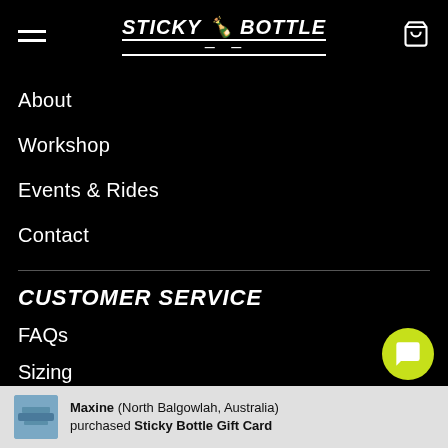STICKY BOTTLE
About
Workshop
Events & Rides
Contact
CUSTOMER SERVICE
FAQs
Sizing
Shipping
Returns
Maxine (North Balgowlah, Australia) purchased Sticky Bottle Gift Card